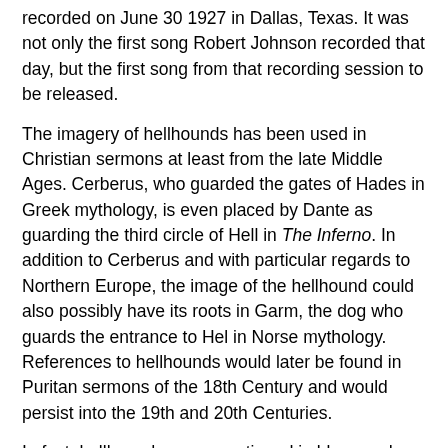recorded on June 30 1927 in Dallas, Texas. It was not only the first song Robert Johnson recorded that day, but the first song from that recording session to be released.
The imagery of hellhounds has been used in Christian sermons at least from the late Middle Ages. Cerberus, who guarded the gates of Hades in Greek mythology, is even placed by Dante as guarding the third circle of Hell in The Inferno. In addition to Cerberus and with particular regards to Northern Europe, the image of the hellhound could also possibly have its roots in Garm, the dog who guards the entrance to Hel in Norse mythology. References to hellhounds would later be found in Puritan sermons of the 18th Century and would persist into the 19th and 20th Centuries.
In fact, hellhounds were mentioned in blues and spiritual songs prior to Robert Johnson's "Hellhound on My Trail." In 1926 The Biddleville University Quintettes's religious song "Show Pity Lord" contains the line "The hellhound has turned back off my trail." "Devil Blues" by Sylvester Weaver contains the line, "Hellhounds start to chase me man, I was a running